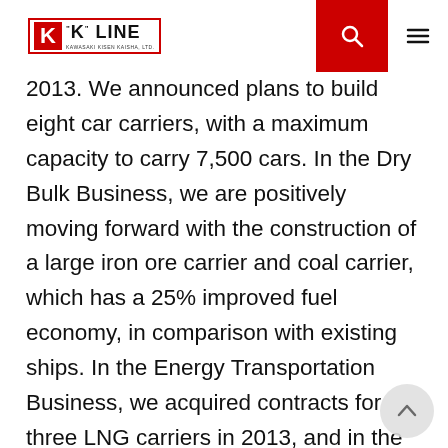K LINE (Kawasaki Kisen Kaisha, Ltd.)
2013. We announced plans to build eight car carriers, with a maximum capacity to carry 7,500 cars. In the Dry Bulk Business, we are positively moving forward with the construction of a large iron ore carrier and coal carrier, which has a 25% improved fuel economy, in comparison with existing ships. In the Energy Transportation Business, we acquired contracts for three LNG carriers in 2013, and in the New Year, we are expecting to secure contracts for a shale gas-related transport project that is currently under negotiation. In the Containership Business, in the first half of 2013, we decided to build five 14,000 TEU ULCVs (Ultra Large Container Vessels). We placed our